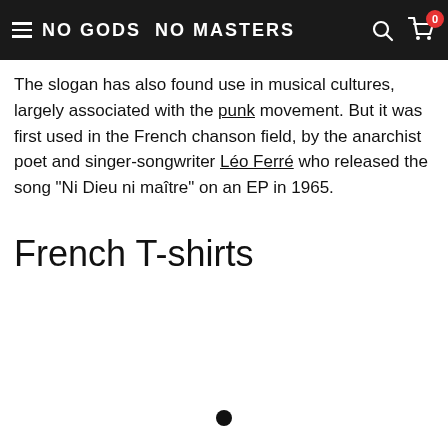NO GODS NO MASTERS
The slogan has also found use in musical cultures, largely associated with the punk movement. But it was first used in the French chanson field, by the anarchist poet and singer-songwriter Léo Ferré who released the song "Ni Dieu ni maître" on an EP in 1965.
French T-shirts